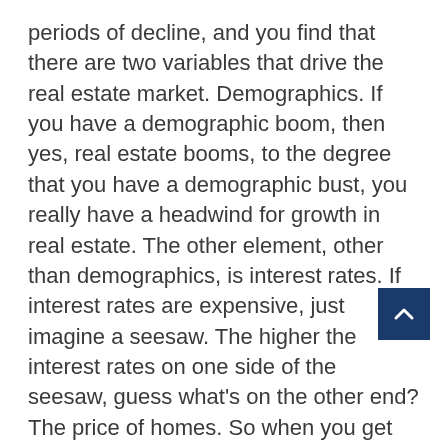periods of decline, and you find that there are two variables that drive the real estate market. Demographics. If you have a demographic boom, then yes, real estate booms, to the degree that you have a demographic bust, you really have a headwind for growth in real estate. The other element, other than demographics, is interest rates. If interest rates are expensive, just imagine a seesaw. The higher the interest rates on one side of the seesaw, guess what's on the other end? The price of homes. So when you get low rates, then you have the seesaw tilting the other direction, with very high home values. And I think that is why interest rates and interest rate trends factor in so heavily into our views, not only the bond market, because that is the other side of the equation for bonds, but also for real estate. Because again, the cost of financing a